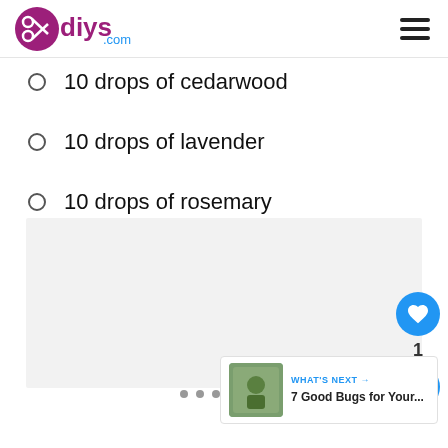diys.com
10 drops of cedarwood
10 drops of lavender
10 drops of rosemary
[Figure (other): Gray advertisement/content placeholder box]
1
[Figure (photo): What's Next thumbnail showing 7 Good Bugs for Your...]
WHAT'S NEXT → 7 Good Bugs for Your...